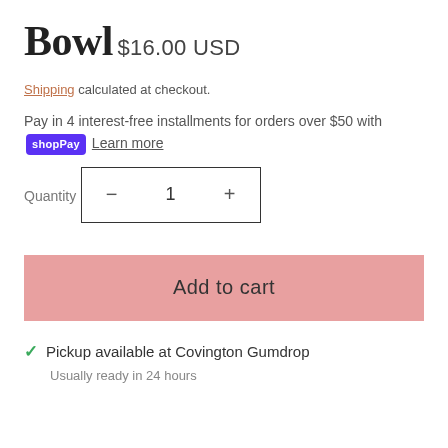Bowl
$16.00 USD
Shipping calculated at checkout.
Pay in 4 interest-free installments for orders over $50 with Shop Pay Learn more
Quantity
[Figure (other): Quantity selector widget with minus button, number 1, and plus button inside a bordered box]
Add to cart
✓ Pickup available at Covington Gumdrop
Usually ready in 24 hours